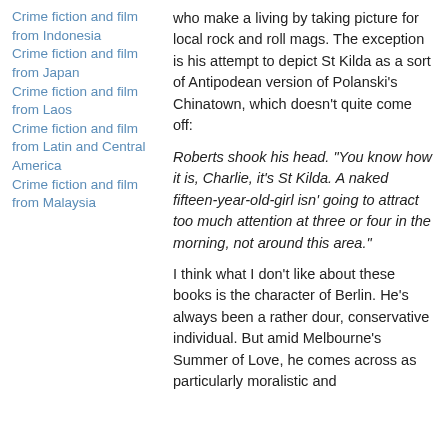Crime fiction and film from Indonesia
Crime fiction and film from Japan
Crime fiction and film from Laos
Crime fiction and film from Latin and Central America
Crime fiction and film from Malaysia
who make a living by taking picture for local rock and roll mags. The exception is his attempt to depict St Kilda as a sort of Antipodean version of Polanski's Chinatown, which doesn't quite come off:
Roberts shook his head. “You know how it is, Charlie, it’s St Kilda. A naked fifteen-year-old-girl isn’ going to attract too much attention at three or four in the morning, not around this area.”
I think what I don’t like about these books is the character of Berlin. He’s always been a rather dour, conservative individual. But amid Melbourne’s Summer of Love, he comes across as particularly moralistic and